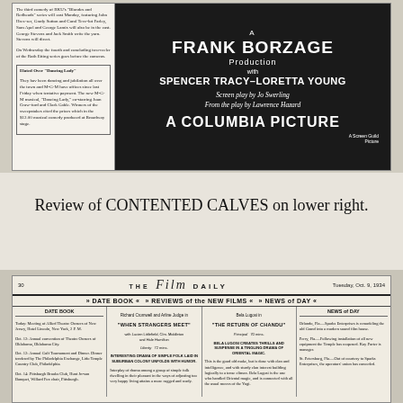[Figure (photo): Advertisement for a Frank Borzage Production with Spencer Tracy and Loretta Young, 'A Columbia Picture'. Left column contains small newspaper text about RKO Blondes and Redheads series and a box about Dancing Lady. Right side is dark background ad text.]
Review of CONTENTED CALVES on lower right.
[Figure (photo): Scan of Film Daily newspaper page dated Tuesday, Oct. 9, 1934. Contains sections: Date Book, Reviews of the New Films (including 'When Strangers Meet' and 'The Return of Chandu'), and News of Day.]